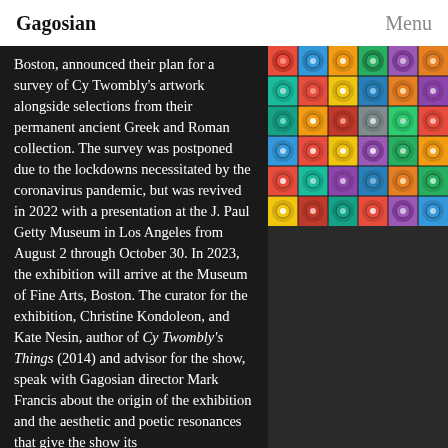Gagosian   Menu
Boston, announced their plan for a survey of Cy Twombly's artwork alongside selections from their permanent ancient Greek and Roman collection. The survey was postponed due to the lockdowns necessitated by the coronavirus pandemic, but was revived in 2022 with a presentation at the J. Paul Getty Museum in Los Angeles from August 2 through October 30. In 2023, the exhibition will arrive at the Museum of Fine Arts, Boston. The curator for the exhibition, Christine Kondoleon, and Kate Nesin, author of Cy Twombly's Things (2014) and advisor for the show, speak with Gagosian director Mark Francis about the origin of the exhibition and the aesthetic and poetic resonances that give the show its
[Figure (illustration): A grid of colorful square tiles, each containing decorative circular/floral patterns in various bright colors on colored backgrounds, arranged in a 6x6 grid.]